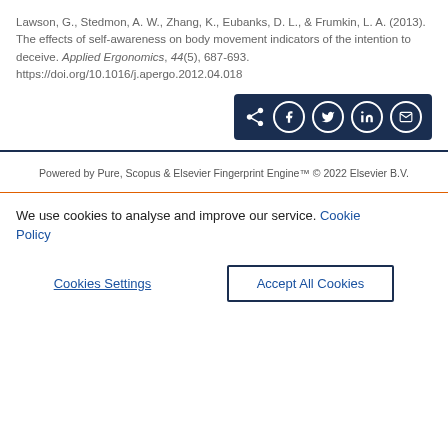Lawson, G., Stedmon, A. W., Zhang, K., Eubanks, D. L., & Frumkin, L. A. (2013). The effects of self-awareness on body movement indicators of the intention to deceive. Applied Ergonomics, 44(5), 687-693. https://doi.org/10.1016/j.apergo.2012.04.018
[Figure (other): Social share bar with icons for share, Facebook, Twitter, LinkedIn, and email on a dark navy background]
Powered by Pure, Scopus & Elsevier Fingerprint Engine™ © 2022 Elsevier B.V.
We use cookies to analyse and improve our service. Cookie Policy
Cookies Settings | Accept All Cookies